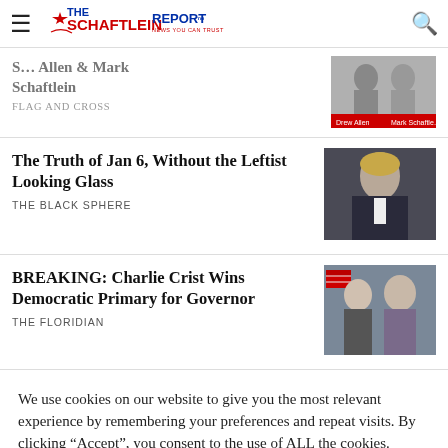The Schaftlein Report — NEWS YOU CAN TRUST
S... Allen & Mark Schaftlein — FLAG AND CROSS
The Truth of Jan 6, Without the Leftist Looking Glass
THE BLACK SPHERE
BREAKING: Charlie Crist Wins Democratic Primary for Governor
THE FLORIDIAN
We use cookies on our website to give you the most relevant experience by remembering your preferences and repeat visits. By clicking “Accept”, you consent to the use of ALL the cookies.
Cookie settings
ACCEPT